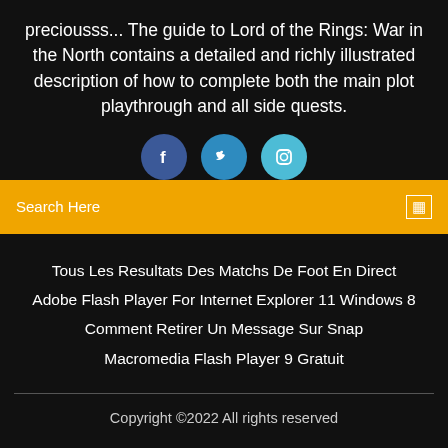preciousss... The guide to Lord of the Rings: War in the North contains a detailed and richly illustrated description of how to complete both the main plot playthrough and all side quests.
[Figure (illustration): Three social media buttons: Facebook (dark blue circle with 'f'), Twitter (medium blue circle with bird icon), Instagram (light blue circle with camera icon)]
Search Here
Tous Les Resultats Des Matchs De Foot En Direct
Adobe Flash Player For Internet Explorer 11 Windows 8
Comment Retirer Un Message Sur Snap
Macromedia Flash Player 9 Gratuit
Copyright ©2022 All rights reserved